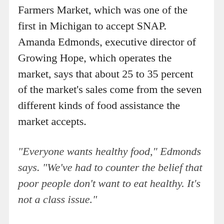Farmers Market, which was one of the first in Michigan to accept SNAP. Amanda Edmonds, executive director of Growing Hope, which operates the market, says that about 25 to 35 percent of the market's sales come from the seven different kinds of food assistance the market accepts.
“Everyone wants healthy food,” Edmonds says. “We’ve had to counter the belief that poor people don’t want to eat healthy. It’s not a class issue.”